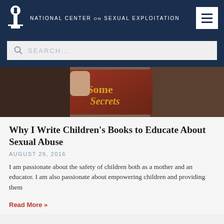NATIONAL CENTER ON SEXUAL EXPLOITATION
[Figure (screenshot): Search bar with placeholder text SEARCH...]
[Figure (photo): Person holding a book with text 'Some Secrets' on the cover]
Why I Write Children’s Books to Educate About Sexual Abuse
AUGUST 29, 2016
I am passionate about the safety of children both as a mother and an educator. I am also passionate about empowering children and providing them
Read More »